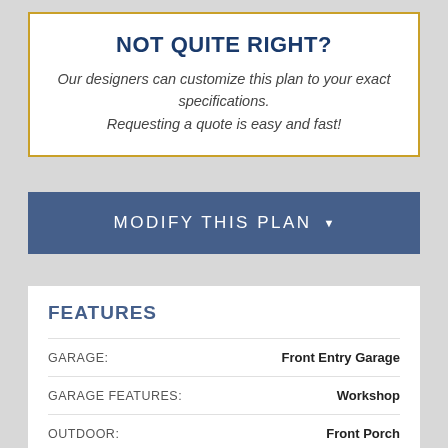NOT QUITE RIGHT?
Our designers can customize this plan to your exact specifications. Requesting a quote is easy and fast!
MODIFY THIS PLAN
FEATURES
|  |  |
| --- | --- |
| GARAGE: | Front Entry Garage |
| GARAGE FEATURES: | Workshop |
| OUTDOOR: | Front Porch |
| ROOMS: | Loft |